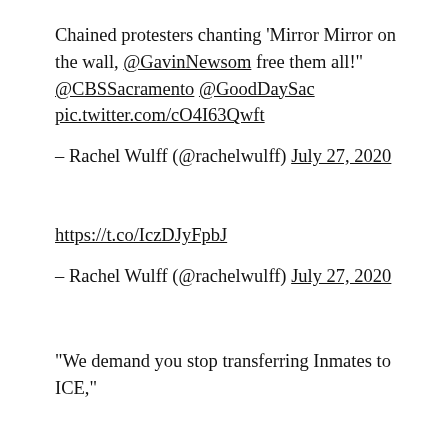Chained protesters chanting 'Mirror Mirror on the wall, @GavinNewsom free them all!" @CBSSacramento @GoodDaySac pic.twitter.com/cO4I63Qwft
– Rachel Wulff (@rachelwulff) July 27, 2020
https://t.co/IczDJyFpbJ
– Rachel Wulff (@rachelwulff) July 27, 2020
"We demand you stop transferring Inmates to ICE,"